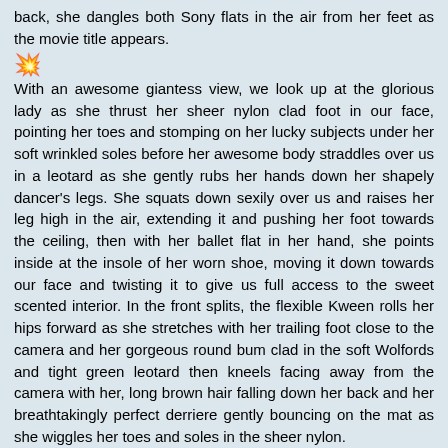back, she dangles both Sony flats in the air from her feet as the movie title appears.
💥 With an awesome giantess view, we look up at the glorious lady as she thrust her sheer nylon clad foot in our face, pointing her toes and stomping on her lucky subjects under her soft wrinkled soles before her awesome body straddles over us in a leotard as she gently rubs her hands down her shapely dancer's legs. She squats down sexily over us and raises her leg high in the air, extending it and pushing her foot towards the ceiling, then with her ballet flat in her hand, she points inside at the insole of her worn shoe, moving it down towards our face and twisting it to give us full access to the sweet scented interior. In the front splits, the flexible Kween rolls her hips forward as she stretches with her trailing foot close to the camera and her gorgeous round bum clad in the soft Wolfords and tight green leotard then kneels facing away from the camera with her, long brown hair falling down her back and her breathtakingly perfect derriere gently bouncing on the mat as she wiggles her toes and soles in the sheer nylon.
💥 She presents her So Danca leather ballet flats to us, spreading open the shoe and offering the delightful perfumed insole for us to savour, holding the soft pink flats next to each other before snapping her regal fingers in no uncertain terms and pointing to the fragrant insole, commanding that we inhale and enjoy the glorious latent scent. With a side view of her toned lower legs as she sits, TJK dangles a black ballet flat from the tips of her toes, with the cute gold chain of her anklet showing through the